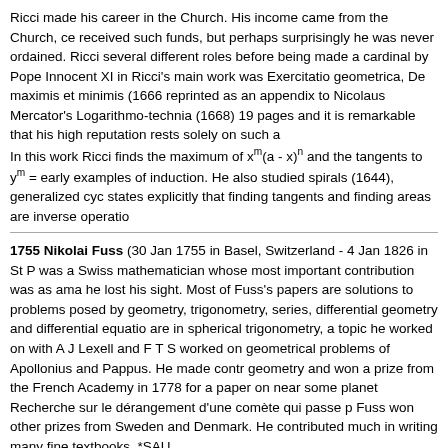Ricci made his career in the Church. His income came from the Church, ce received such funds, but perhaps surprisingly he was never ordained. Ricci several different roles before being made a cardinal by Pope Innocent XI in Ricci's main work was Exercitatio geometrica, De maximis et minimis (1666 reprinted as an appendix to Nicolaus Mercator's Logarithmo-technia (1668) 19 pages and it is remarkable that his high reputation rests solely on such a In this work Ricci finds the maximum of x^m(a - x)^n and the tangents to y^m = early examples of induction. He also studied spirals (1644), generalized cyc states explicitly that finding tangents and finding areas are inverse operatio
1755 Nikolai Fuss (30 Jan 1755 in Basel, Switzerland - 4 Jan 1826 in St P was a Swiss mathematician whose most important contribution was as ama he lost his sight. Most of Fuss's papers are solutions to problems posed by geometry, trigonometry, series, differential geometry and differential equatio are in spherical trigonometry, a topic he worked on with A J Lexell and F T S worked on geometrical problems of Apollonius and Pappus. He made contr geometry and won a prize from the French Academy in 1778 for a paper on near some planet Recherche sur le dérangement d'une comète qui passe p Fuss won other prizes from Sweden and Denmark. He contributed much in writing many fine textbooks. *SAU
1805 Edward Sang,(30 Jan 1805 in Kirkcaldy, Fife, Scotland - 23 Dec 1890 Sang wrote extensively on mathematical, mechanical, optical and actuarial
1865 Georg Landsberg (30 Jan 1865 - 14 Sept 1912) studied the theory o